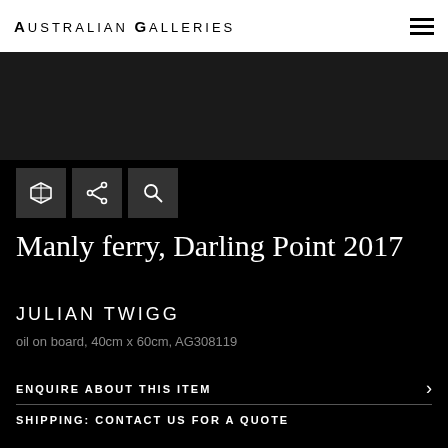Australian Galleries
[Figure (photo): Dark/black artwork image area]
Manly ferry, Darling Point 2017
JULIAN TWIGG
oil on board, 40cm x 60cm, AG308119
ENQUIRE ABOUT THIS ITEM
SHIPPING: CONTACT US FOR A QUOTE